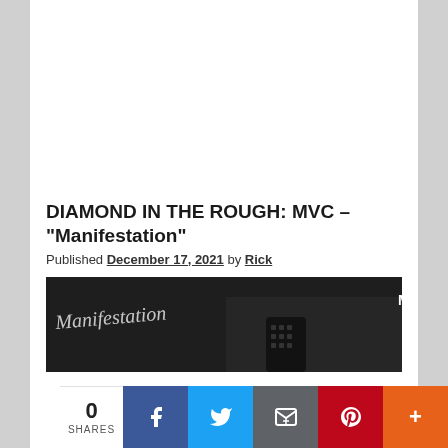DIAMOND IN THE ROUGH: MVC – "Manifestation"
Published December 17, 2021 by Rick
[Figure (photo): Album cover image for MVC 'Manifestation' — dark background with cursive script text and guitar, MVC logo in top right]
0 SHARES
Facebook share button
Twitter share button
Email share button
Pinterest share button
More share button